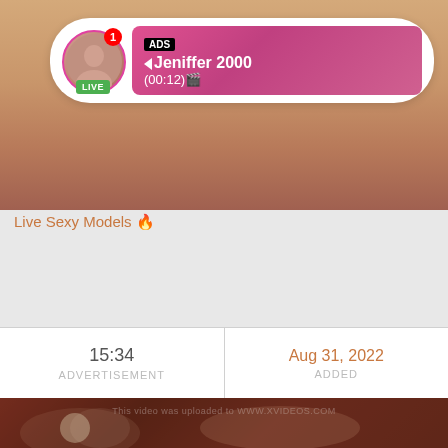[Figure (screenshot): Adult content advertisement overlay on a video streaming page showing a live model notification with avatar, LIVE badge, ADS label, username Jeniffer 2000, and duration (00:12)]
Live Sexy Models 🔥
| Duration | Date |
| --- | --- |
| 15:34 | Aug 31, 2022 |
| ADVERTISEMENT | ADDED |
[Figure (screenshot): Bottom portion of a video thumbnail showing a close-up of a person's face with watermark text 'This video was uploaded to WWW.XVIDEOS.COM']